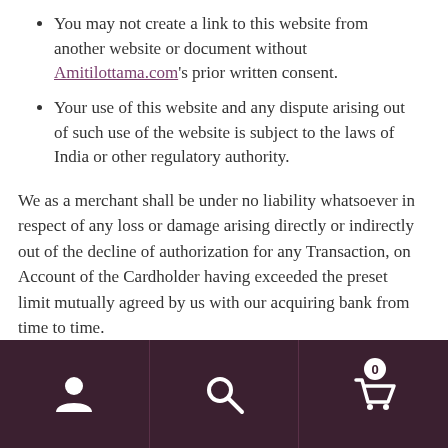You may not create a link to this website from another website or document without Amitilottama.com's prior written consent.
Your use of this website and any dispute arising out of such use of the website is subject to the laws of India or other regulatory authority.
We as a merchant shall be under no liability whatsoever in respect of any loss or damage arising directly or indirectly out of the decline of authorization for any Transaction, on Account of the Cardholder having exceeded the preset limit mutually agreed by us with our acquiring bank from time to time.
[navigation bar with user, search, and cart icons]